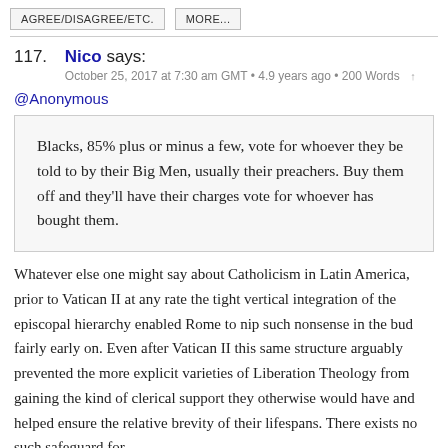AGREE/DISAGREE/ETC.   MORE...
117. Nico says:
October 25, 2017 at 7:30 am GMT • 4.9 years ago • 200 Words ↑
@Anonymous
Blacks, 85% plus or minus a few, vote for whoever they be told to by their Big Men, usually their preachers. Buy them off and they'll have their charges vote for whoever has bought them.
Whatever else one might say about Catholicism in Latin America, prior to Vatican II at any rate the tight vertical integration of the episcopal hierarchy enabled Rome to nip such nonsense in the bud fairly early on. Even after Vatican II this same structure arguably prevented the more explicit varieties of Liberation Theology from gaining the kind of clerical support they otherwise would have and helped ensure the relative brevity of their lifespans. There exists no such safeguard for